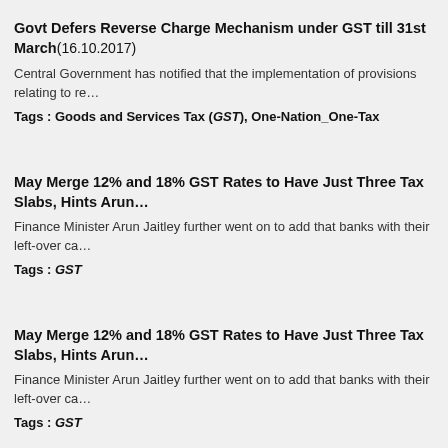Govt Defers Reverse Charge Mechanism under GST till 31st March(16.10.2017)
Central Government has notified that the implementation of provisions relating to re…
Tags : Goods and Services Tax (GST), One-Nation_One-Tax
May Merge 12% and 18% GST Rates to Have Just Three Tax Slabs, Hints Arun…
Finance Minister Arun Jaitley further went on to add that banks with their left-over ca…
Tags : GST
May Merge 12% and 18% GST Rates to Have Just Three Tax Slabs, Hints Arun…
Finance Minister Arun Jaitley further went on to add that banks with their left-over ca…
Tags : GST
May Merge 12% and 18% GST Rates to Have Just Three Tax Slabs, Hints Arun…